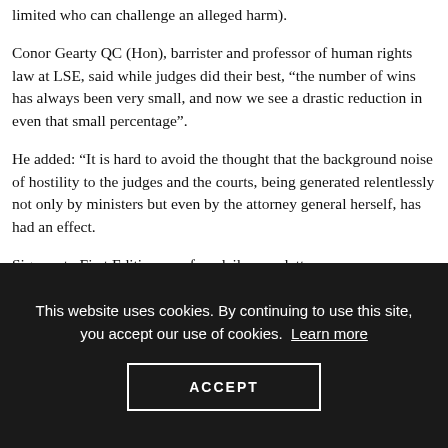limited who can challenge an alleged harm).
Conor Gearty QC (Hon), barrister and professor of human rights law at LSE, said while judges did their best, “the number of wins has always been very small, and now we see a drastic reduction in even that small percentage”.
He added: “It is hard to avoid the thought that the background noise of hostility to the judges and the courts, being generated relentlessly not only by ministers but even by the attorney general herself, has had an effect.
Sign up to First Edition, our free daily newsletter – every
This website uses cookies. By continuing to use this site, you accept our use of cookies. Learn more
ACCEPT